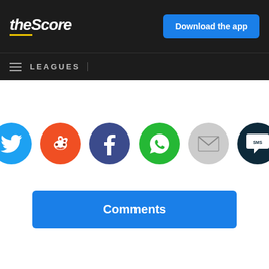theScore | Download the app | LEAGUES
[Figure (infographic): Social sharing icons row: Twitter (blue bird), Reddit (orange alien), Facebook (dark blue f), WhatsApp (green phone), Email (grey envelope), SMS (dark navy speech bubble)]
Comments
HEADLINES
Report: Knicks could be open to trading Barrett for Mitchell